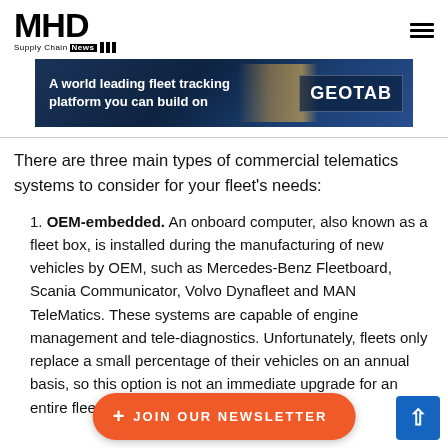MHD Supply Chain News
[Figure (infographic): Geotab advertisement banner: 'A world leading fleet tracking platform you can build on' with truck image and GEOTAB logo on dark blue background]
There are three main types of commercial telematics systems to consider for your fleet's needs:
1. OEM-embedded. An onboard computer, also known as a fleet box, is installed during the manufacturing of new vehicles by OEM, such as Mercedes-Benz Fleetboard, Scania Communicator, Volvo Dynafleet and MAN TeleMatics. These systems are capable of engine management and tele-diagnostics. Unfortunately, fleets only replace a small percentage of their vehicles on an annual basis, so this opti[on is not an immedi]ate upgrade for an en[tire fleet.]